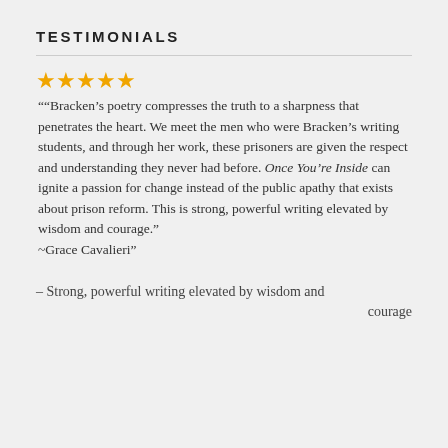TESTIMONIALS
★★★★★ ““Bracken’s poetry compresses the truth to a sharpness that penetrates the heart. We meet the men who were Bracken’s writing students, and through her work, these prisoners are given the respect and understanding they never had before. Once You’re Inside can ignite a passion for change instead of the public apathy that exists about prison reform. This is strong, powerful writing elevated by wisdom and courage.” ~Grace Cavalieri”
– Strong, powerful writing elevated by wisdom and courage